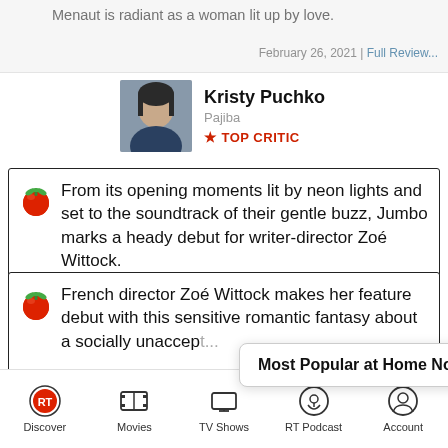Menaut is radiant as a woman lit up by love.
February 26, 2021 | Full Review...
[Figure (photo): Critic photo of Kristy Puchko]
Kristy Puchko
Pajiba
★ TOP CRITIC
From its opening moments lit by neon lights and set to the soundtrack of their gentle buzz, Jumbo marks a heady debut for writer-director Zoé Wittock.
February 19, 2021 | Rating: B | Full Review...
[Figure (photo): Critic photo of Kimber Myers]
Kimber Myers
Crooked Marquee
★ TOP CRITIC
French director Zoé Wittock makes her feature debut with this sensitive romantic fantasy about a socially unaccep...
Most Popular at Home Now ↗
...4/5 | Full Review...
Discover
Movies
TV Shows
RT Podcast
Account